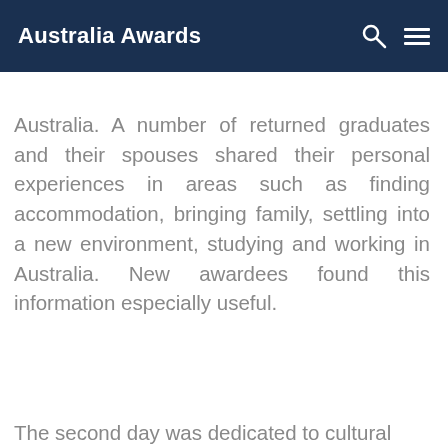Australia Awards
Australia. A number of returned graduates and their spouses shared their personal experiences in areas such as finding accommodation, bringing family, settling into a new environment, studying and working in Australia. New awardees found this information especially useful.
The second day was dedicated to cultural